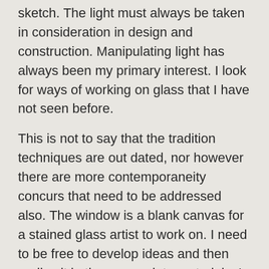sketch. The light must always be taken in consideration in design and construction. Manipulating light has always been my primary interest. I look for ways of working on glass that I have not seen before.
This is not to say that the tradition techniques are out dated, nor however there are more contemporaneity concurs that need to be addressed also. The window is a blank canvas for a stained glass artist to work on. I need to be free to develop ideas and then realize it in the appropriate materials. I must return to nature constantly to observe the natural world and to re-create. As an artist I try to understand nature and watch her soul. My work is rooted in the natural world this gives me many metaphors. Glass is away of expression artistically Glass is a seductive material so